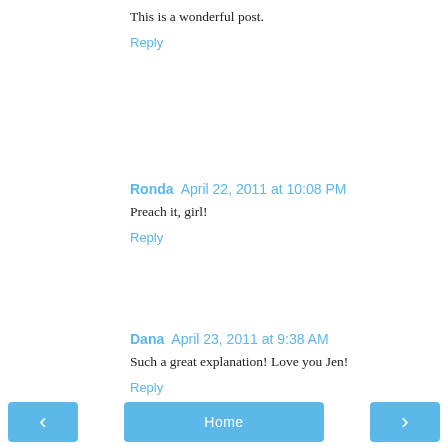This is a wonderful post.
Reply
Ronda  April 22, 2011 at 10:08 PM
Preach it, girl!
Reply
Dana  April 23, 2011 at 9:38 AM
Such a great explanation!  Love you Jen!
Reply
Enter Comment
< Home >